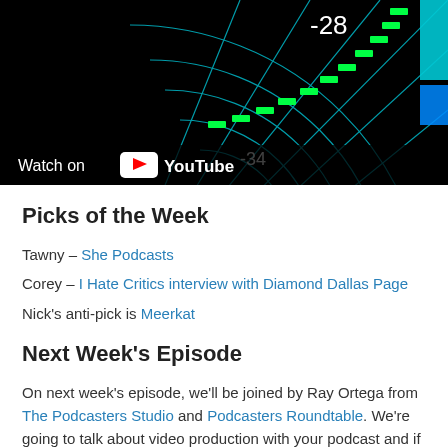[Figure (screenshot): YouTube video thumbnail showing a dark radar/analyzer display with green bar indicators and cyan grid lines, with a 'Watch on YouTube' overlay bar at the bottom. Numbers -28 and -34 are visible.]
Picks of the Week
Tawny – She Podcasts
Corey – I Hate Critics interview with Diamond Dallas Page
Nick's anti-pick is Meerkat
Next Week's Episode
On next week's episode, we'll be joined by Ray Ortega from The Podcasters Studio and Podcasters Roundtable. We're going to talk about video production with your podcast and if you're talking about that, you better not leave out all the...